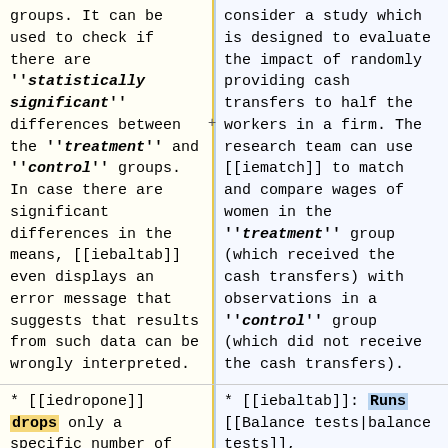groups. It can be used to check if there are '''statistically significant''' differences between the '''treatment''' and '''control''' groups. In case there are significant differences in the means, <code>[[iebaltab]]</code> even displays an error message that suggests that results from such data can be wrongly interpreted.
consider a study which is designed to evaluate the impact of randomly providing cash transfers to half the workers in a firm. The research team can use <code>[[iematch]]</code> to match and compare wages of women in the '''treatment''' group (which received the cash transfers) with observations in a '''control''' group (which did not receive the cash transfers).
* <code>[[iedropone]]</code> drops only a specific number of observations, and
* <code>[[iebaltab]]</code>: Runs [[Balance tests|balance tests]],